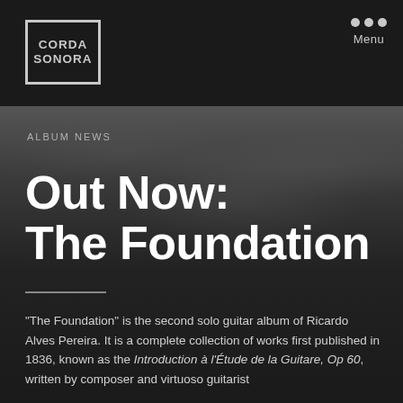[Figure (logo): Corda Sonora logo in a bordered box with text in two lines]
Menu
ALBUM NEWS
Out Now: The Foundation
“The Foundation” is the second solo guitar album of Ricardo Alves Pereira. It is a complete collection of works first published in 1836, known as the Introduction à l’Étude de la Guitare, Op 60, written by composer and virtuoso guitarist